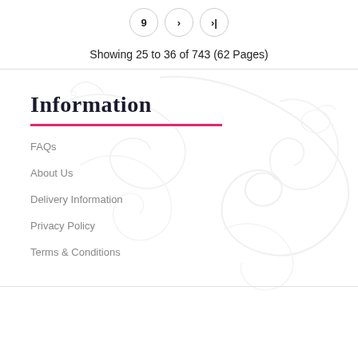Showing 25 to 36 of 743 (62 Pages)
Information
FAQs
About Us
Delivery Information
Privacy Policy
Terms & Conditions